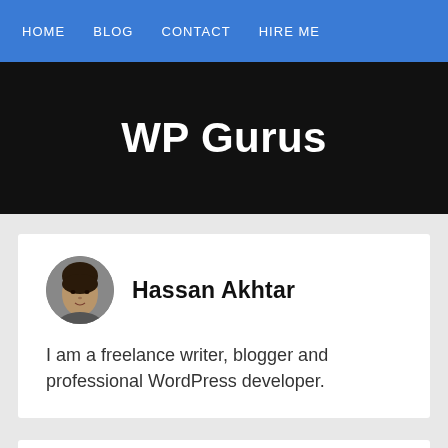HOME  BLOG  CONTACT  HIRE ME
WP Gurus
Hassan Akhtar
I am a freelance writer, blogger and professional WordPress developer.